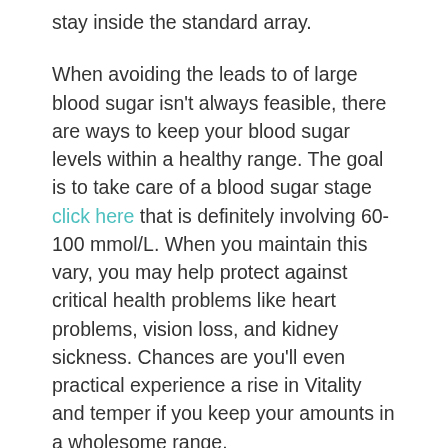stay inside the standard array.
When avoiding the leads to of large blood sugar isn't always feasible, there are ways to keep your blood sugar levels within a healthy range. The goal is to take care of a blood sugar stage click here that is definitely involving 60-100 mmol/L. When you maintain this vary, you may help protect against critical health problems like heart problems, vision loss, and kidney sickness. Chances are you'll even practical experience a rise in Vitality and temper if you keep your amounts in a wholesome range.
According to the variety of food you take in, you must check your blood sugar concentrations to avoid serious issues. When you are at a small glucose level, chances are you'll encounter confusion, drowsiness, or maybe